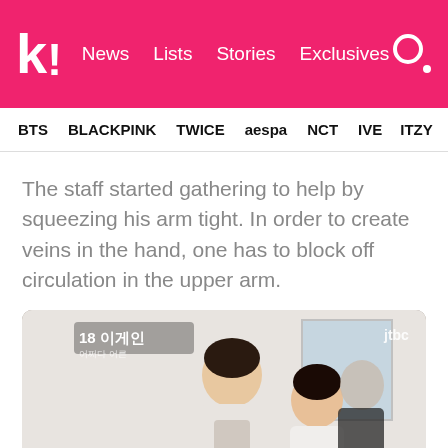k! News  Lists  Stories  Exclusives
BTS  BLACKPINK  TWICE  aespa  NCT  IVE  ITZY
The staff started gathering to help by squeezing his arm tight. In order to create veins in the hand, one has to block off circulation in the upper arm.
[Figure (photo): TV show screenshot from JTBC showing people gathered around, a young man in a hoodie and a woman in a white blouse, with Korean text overlay reading '18 이게인' and JTBC watermark]